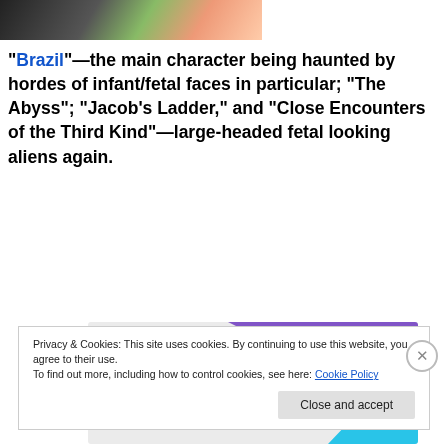[Figure (photo): Partial image at top of page, dark background with colorful floral or decorative elements visible]
“Brazil”—the main character being haunted by hordes of infant/fetal faces in particular; “The Abyss”; “Jacob’s Ladder,” and “Close Encounters of the Third Kind”—large-headed fetal looking aliens again.
[Figure (illustration): Advertisement banner: How to start selling subscriptions online, with purple triangle, green triangle, and cyan arc decorative shapes on light gray background]
Privacy & Cookies: This site uses cookies. By continuing to use this website, you agree to their use.
To find out more, including how to control cookies, see here: Cookie Policy
Close and accept